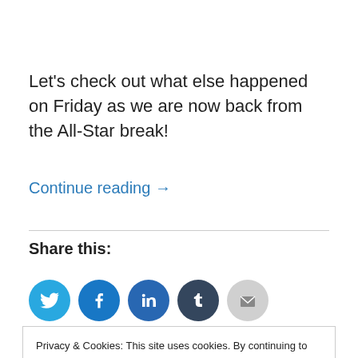Let's check out what else happened on Friday as we are now back from the All-Star break!
Continue reading →
Share this:
[Figure (other): Row of social share icon buttons: Twitter (blue), Facebook (blue), LinkedIn (dark blue), Tumblr (dark navy), Email (grey)]
Privacy & Cookies: This site uses cookies. By continuing to use this website, you agree to their use.
To find out more, including how to control cookies, see here: Cookie Policy
Close and accept